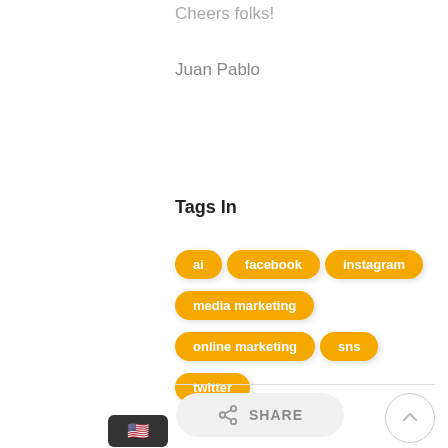Cheers folks!
Juan Pablo
Tags In
ai
facebook
instagram
media marketing
online marketing
sns
twitter
SHARE